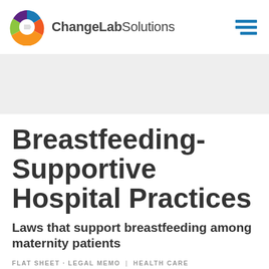ChangeLab Solutions
Breastfeeding-Supportive Hospital Practices
Laws that support breastfeeding among maternity patients
FLAT SHEET · LEGAL MEMO | HEALTH CARE